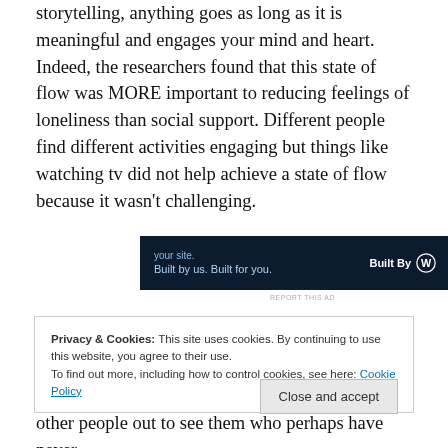storytelling, anything goes as long as it is meaningful and engages your mind and heart.  Indeed, the researchers found that this state of flow was MORE important to reducing feelings of loneliness than social support. Different people find different activities engaging but things like watching tv did not help achieve a state of flow because it wasn't challenging.
[Figure (screenshot): Advertisement banner with dark navy background. Left side reads 'your site.' and 'Built by us. Built for you.' Right side shows 'Built By' with WordPress logo.]
REPORT THIS AD
Privacy & Cookies: This site uses cookies. By continuing to use this website, you agree to their use.
To find out more, including how to control cookies, see here: Cookie Policy
Close and accept
other people out to see them who perhaps have never